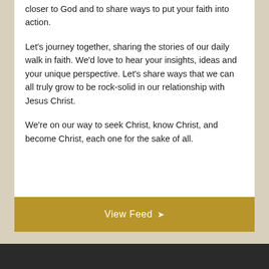closer to God and to share ways to put your faith into action.
Let's journey together, sharing the stories of our daily walk in faith. We'd love to hear your insights, ideas and your unique perspective. Let's share ways that we can all truly grow to be rock-solid in our relationship with Jesus Christ.
We're on our way to seek Christ, know Christ, and become Christ, each one for the sake of all.
View Feed ❯